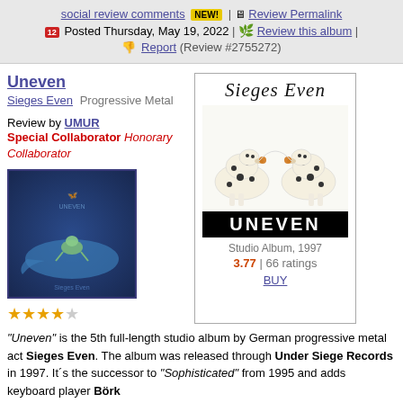social review comments NEW! | Review Permalink | Posted Thursday, May 19, 2022 | Review this album | Report (Review #2755272)
Uneven
Sieges Even Progressive Metal
Review by UMUR
Special Collaborator Honorary Collaborator
[Figure (photo): Album cover for Uneven by Sieges Even - blue background with lizard/frog on whale illustration]
[Figure (photo): Album art showing two Dalmatian dogs facing each other with text UNEVEN, Studio Album 1997, 3.77 | 66 ratings, BUY]
"Uneven" is the 5th full-length studio album by German progressive metal act Sieges Even. The album was released through Under Siege Records in 1997. It's the successor to "Sophisticated" from 1995 and adds keyboard player Börk Moll...